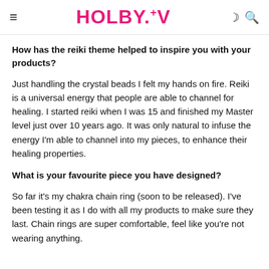HOLBY.TV
How has the reiki theme helped to inspire you with your products?
Just handling the crystal beads I felt my hands on fire. Reiki is a universal energy that people are able to channel for healing. I started reiki when I was 15 and finished my Master level just over 10 years ago. It was only natural to infuse the energy I'm able to channel into my pieces, to enhance their healing properties.
What is your favourite piece you have designed?
So far it's my chakra chain ring (soon to be released). I've been testing it as I do with all my products to make sure they last. Chain rings are super comfortable, feel like you're not wearing anything.